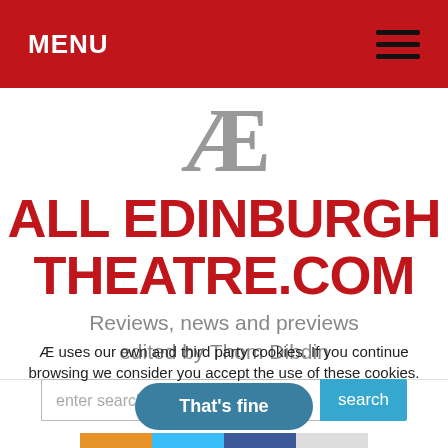MENU
[Figure (logo): All Edinburgh Theatre logo with Æ symbol and site name in red bold text]
Reviews, news and previews edited by Thom Dibdin
Æ uses our own and third party cookies. If you continue browsing we consider you accept the use of these cookies.